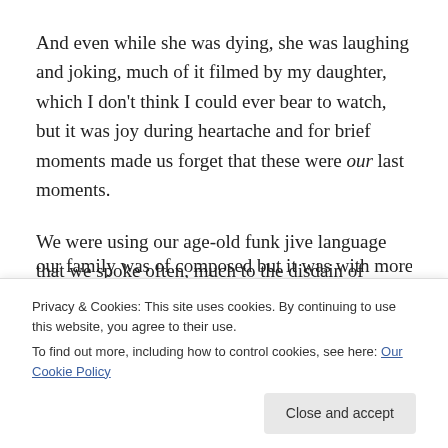And even while she was dying, she was laughing and joking, much of it filmed by my daughter, which I don't think I could ever bear to watch, but it was joy during heartache and for brief moments made us forget that these were our last moments.
We were using our age-old funk jive language that we spoke often, much to the disdain of others at times, who hadn't a clue what on earth we were saying, but our whole family was like that, including my late brother, but when
[truncated line partially obscured]
Privacy & Cookies: This site uses cookies. By continuing to use this website, you agree to their use. To find out more, including how to control cookies, see here: Our Cookie Policy
"run for the money" means to give your actions everything